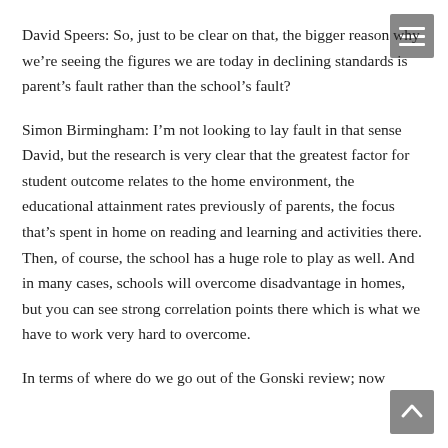David Speers: So, just to be clear on that, the bigger reason why we're seeing the figures we are today in declining standards is parent's fault rather than the school's fault?
Simon Birmingham: I'm not looking to lay fault in that sense David, but the research is very clear that the greatest factor for student outcome relates to the home environment, the educational attainment rates previously of parents, the focus that's spent in home on reading and learning and activities there. Then, of course, the school has a huge role to play as well. And in many cases, schools will overcome disadvantage in homes, but you can see strong correlation points there which is what we have to work very hard to overcome.
In terms of where do we go out of the Gonski review; now